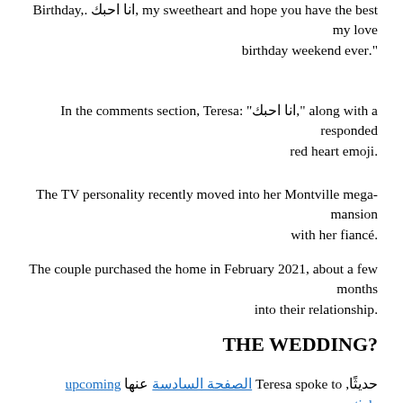my sweetheart and hope you have the best ,انا احبك .Birthday, my love".birthday weekend ever
along with a ",انا احبك" :In the comments section, Teresa responded
.red heart emoji
The TV personality recently moved into her Montville mega-mansion
.with her fiancé
The couple purchased the home in February 2021, about a few months
.into their relationship
?THE WEDDING
حديثًا, Teresa spoke to الصفحة السادسة عنها upcoming nuptials.
Wedding plans are going amazing. Luis is involved with me," :قالت
".and I love that. We're doing it together, so it's not just me